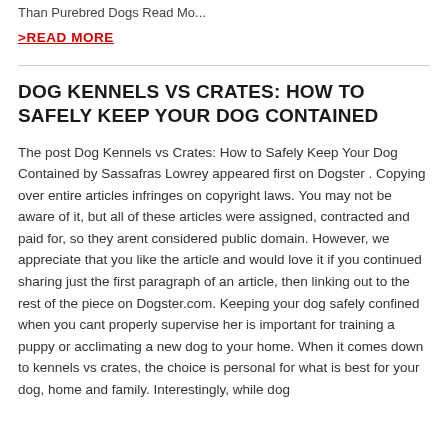Than Purebred Dogs Read Mo...
>READ MORE
DOG KENNELS VS CRATES: HOW TO SAFELY KEEP YOUR DOG CONTAINED
The post Dog Kennels vs Crates: How to Safely Keep Your Dog Contained by Sassafras Lowrey appeared first on Dogster . Copying over entire articles infringes on copyright laws. You may not be aware of it, but all of these articles were assigned, contracted and paid for, so they arent considered public domain. However, we appreciate that you like the article and would love it if you continued sharing just the first paragraph of an article, then linking out to the rest of the piece on Dogster.com. Keeping your dog safely confined when you cant properly supervise her is important for training a puppy or acclimating a new dog to your home. When it comes down to kennels vs crates, the choice is personal for what is best for your dog, home and family. Interestingly, while dog